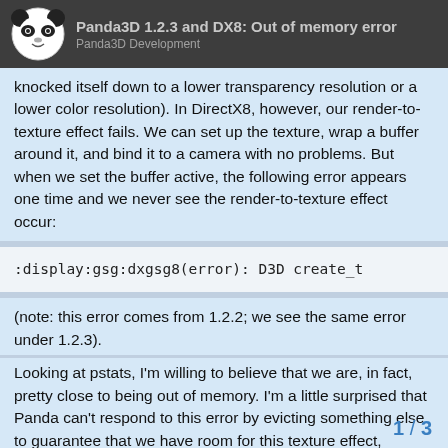Panda3D 1.2.3 and DX8: Out of memory error
knocked itself down to a lower transparency resolution or a lower color resolution). In DirectX8, however, our render-to-texture effect fails. We can set up the texture, wrap a buffer around it, and bind it to a camera with no problems. But when we set the buffer active, the following error appears one time and we never see the render-to-texture effect occur:
:display:gsg:dxgsg8(error): D3D create_t
(note: this error comes from 1.2.2; we see the same error under 1.2.3).
Looking at pstats, I'm willing to believe that we are, in fact, pretty close to being out of memory. I'm a little surprised that Panda can't respond to this error by evicting something else to guarantee that we have room for this texture effect, however.
1 / 3